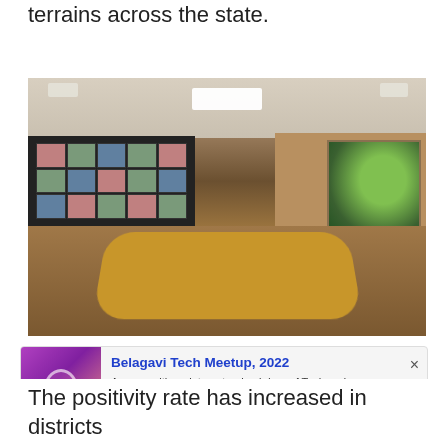terrains across the state.
[Figure (photo): A conference room with people seated around a large wooden table. A large display screen showing video conference tiles is on the left wall. A presenter is standing. There is artwork on the right wall. The room has recessed ceiling lights.]
[Figure (screenshot): Notification card for 'Belagavi Tech Meetup, 2022'. Text reads: 'Anyone with an interest or backdrop of Tech and connection to Belagavi,' Source: UXgrowth. Has a purple/pink logo on the left and a close (x) button.]
The positivity rate has increased in districts